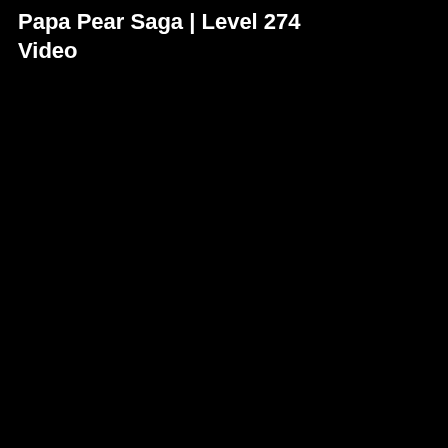Papa Pear Saga | Level 274 Video